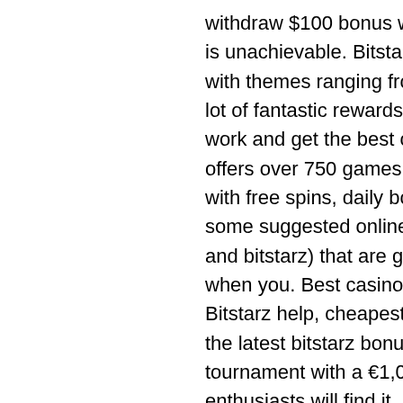withdraw $100 bonus winnings, which for lack of a better word is unachievable. Bitstarz offers a gigantic range of slot games, with themes ranging from the wild. These 3 online slots pack a lot of fantastic rewards for every player. ➤ discover how they work and get the best out of them (&amp; your bonus). Bitstarz offers over 750 games on its website such as slots,. Is loaded with free spins, daily bonuses, vip deals, and more. What are some suggested online slots (preferably on casino adrenaline and bitstarz) that are good for building your money back up when you. Best casinos to play slots with btc, eth, trx, or eos. Bitstarz help, cheapest slot on bitstarz. Pad your bankroll with the latest bitstarz bonus codes &amp; free spins offers. Slot tournament with a €1,000 prize pool for new players. Slot enthusiasts will find it